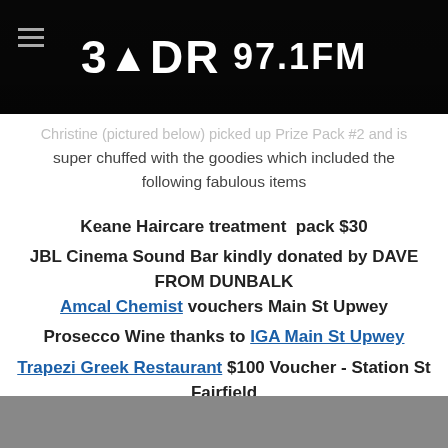[Figure (logo): 3MDR 97.1FM radio station logo on dark/black header bar with hamburger menu icon on left]
Christine (pictured below) picked up Prize Pack #2 and is super chuffed with the goodies which included the following fabulous items
Keane Haircare treatment pack $30
JBL Cinema Sound Bar kindly donated by DAVE FROM DUNBALK
Amcal Chemist vouchers Main St Upwey
Prosecco Wine thanks to IGA Main St Upwey
Trapezi Greek Restaurant $100 Voucher - Station St Fairfield
CK's Image Nails manicure / pedicure voucher from Main St Upwey
[Figure (photo): Photo strip at bottom of page showing people, partially visible]